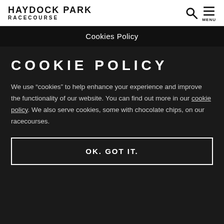HAYDOCK PARK RACECOURSE
Cookies Policy
COOKIE POLICY
We use “cookies” to help enhance your experience and improve the functionality of our website. You can find out more in our cookie policy. We also serve cookies, some with chocolate chips, on our racecourses.
OK. GOT IT.